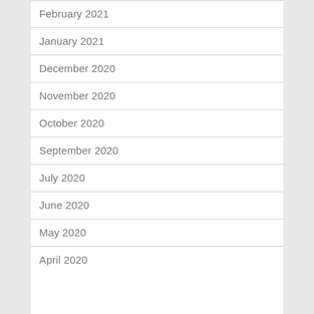February 2021
January 2021
December 2020
November 2020
October 2020
September 2020
July 2020
June 2020
May 2020
April 2020